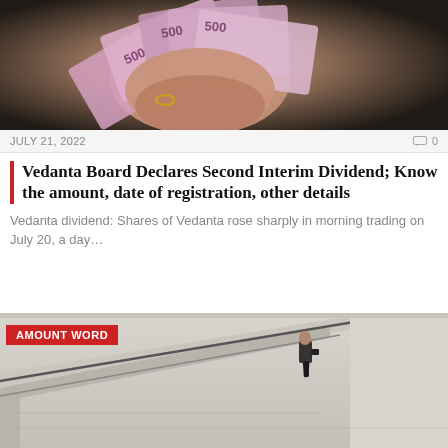[Figure (photo): Hand holding fan of Indian rupee currency notes]
JULY 21, 2022                                                                                             0
Vedanta Board Declares Second Interim Dividend; Know the amount, date of registration, other details
Vedanta dividend: Shares of Vedanta rose sharply in morning trading on July 20, a day…
[Figure (photo): Man in suit walking up wide stone staircase, architectural modern building]
JULY 20, 2022                         0
D…